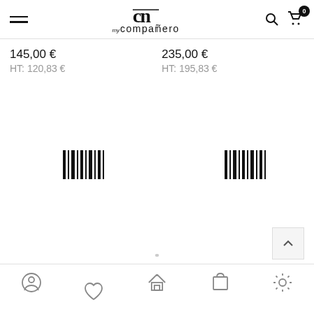my compañero — navigation header with hamburger menu, logo, search and cart icons
145,00 €
HT: 120,83 €
235,00 €
HT: 195,83 €
[Figure (other): Loading spinner / barcode icon placeholder left]
[Figure (other): Loading spinner / barcode icon placeholder right]
Bottom navigation bar with account, home, cart, settings icons